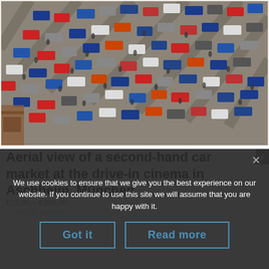[Figure (photo): Aerial view of a large outdoor second-hand car market with many colorful cars parked in diagonal rows, and people walking between the vehicles, at a drive-in cinema location.]
Aerial view of a second-hand car market at the drive-in cinema in Aschheim, München
€75,00 – €300,00
♡ Add to wishlist
We use cookies to ensure that we give you the best experience on our website. If you continue to use this site we will assume that you are happy with it.